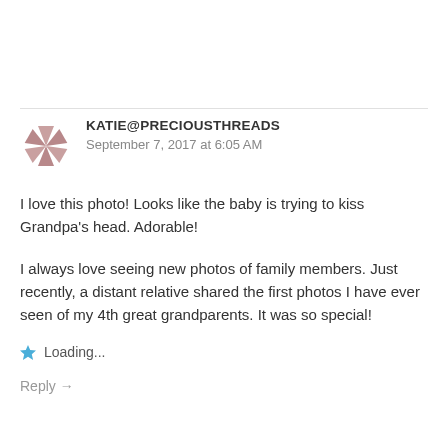[Figure (logo): Avatar icon: a star/pinwheel shape made of triangular segments in dusty rose/mauve color]
KATIE@PRECIOUSTHREADS
September 7, 2017 at 6:05 AM
I love this photo! Looks like the baby is trying to kiss Grandpa's head. Adorable!
I always love seeing new photos of family members. Just recently, a distant relative shared the first photos I have ever seen of my 4th great grandparents. It was so special!
Loading...
Reply →